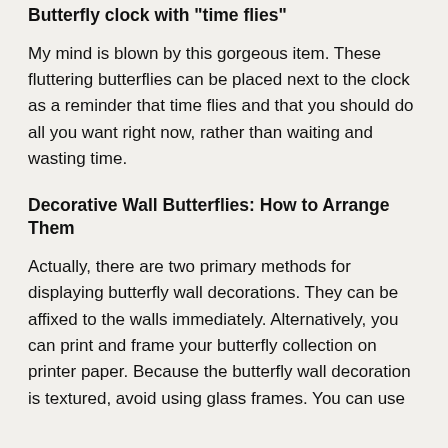Butterfly clock with "time flies"
My mind is blown by this gorgeous item. These fluttering butterflies can be placed next to the clock as a reminder that time flies and that you should do all you want right now, rather than waiting and wasting time.
Decorative Wall Butterflies: How to Arrange Them
Actually, there are two primary methods for displaying butterfly wall decorations. They can be affixed to the walls immediately. Alternatively, you can print and frame your butterfly collection on printer paper. Because the butterfly wall decoration is textured, avoid using glass frames. You can use